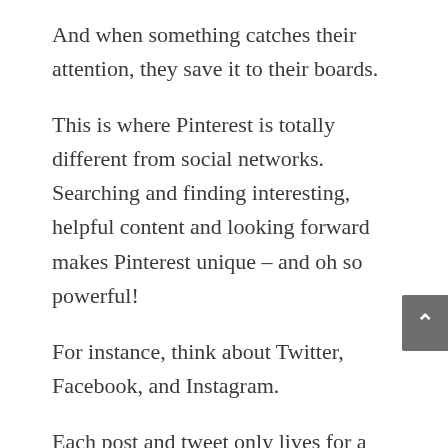And when something catches their attention, they save it to their boards.
This is where Pinterest is totally different from social networks. Searching and finding interesting, helpful content and looking forward makes Pinterest unique – and oh so powerful!
For instance, think about Twitter, Facebook, and Instagram.
Each post and tweet only lives for a few hours or a couple of days.
You need to stay active and share new content daily to increase your exposure and blog traffic.